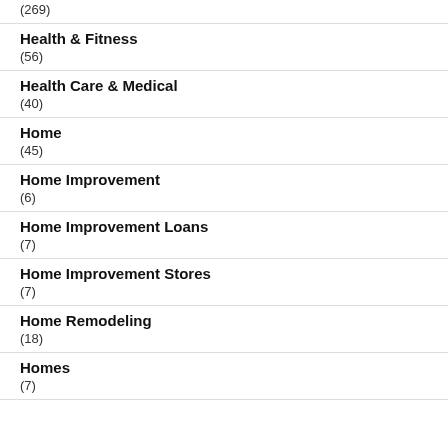(269)
Health & Fitness
(56)
Health Care & Medical
(40)
Home
(45)
Home Improvement
(6)
Home Improvement Loans
(7)
Home Improvement Stores
(7)
Home Remodeling
(18)
Homes
(7)